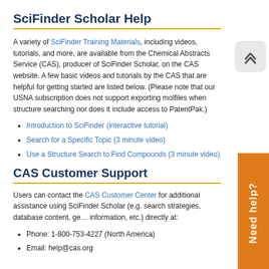SciFinder Scholar Help
A variety of SciFinder Training Materials, including videos, tutorials, and more, are available from the Chemical Abstracts Service (CAS), producer of SciFinder Scholar, on the CAS website.  A few basic videos and tutorials by the CAS that are helpful for getting started are listed below.  (Please note that our USNA subscription does not support exporting molfiles when structure searching nor does it include access to PatentPak.)
Introduction to SciFinder (interactive tutorial)
Search for a Specific Topic (3 minute video)
Use a Structure Search to Find Compounds (3 minute video)
CAS Customer Support
Users can contact the CAS Customer Center for additional assistance using SciFinder Scholar (e.g. search strategies, database content, general information, etc.) directly at:
Phone:  1-800-753-4227 (North America)
Email:  help@cas.org